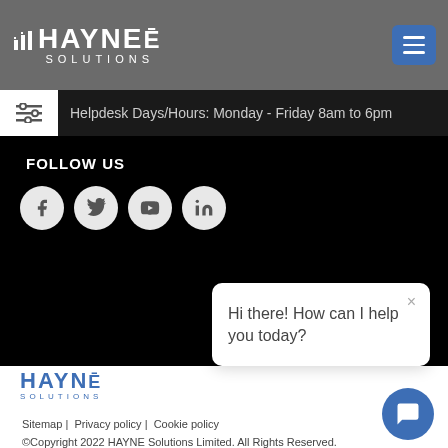[Figure (logo): HAYNE SOLUTIONS logo in white on grey header background]
[Figure (other): Blue hamburger menu button]
Helpdesk Days/Hours: Monday - Friday 8am to 6pm
FOLLOW US
[Figure (other): Social media icons: Facebook, Twitter, YouTube, LinkedIn]
[Figure (logo): HAYNE SOLUTIONS logo in blue on white footer]
[Figure (other): Chat popup with message: Hi there! How can I help you today?]
Sitemap | Privacy policy | Cookie policy
©Copyright 2022 HAYNE Solutions Limited. All Rights Reserved.